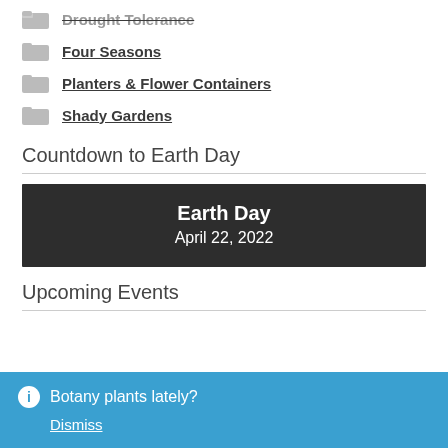Drought Tolerance
Four Seasons
Planters & Flower Containers
Shady Gardens
Countdown to Earth Day
[Figure (other): Earth Day countdown widget showing Earth Day April 22, 2022 on a dark background]
Upcoming Events
Botany plants lately?
Dismiss